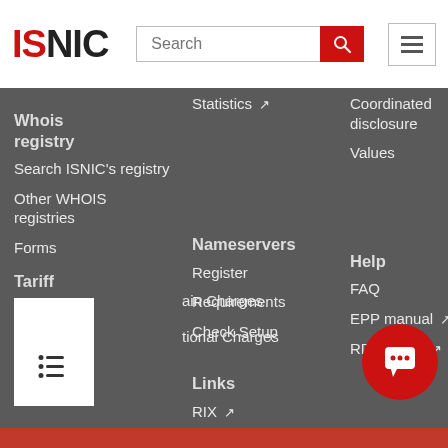ISNIC
Whois registry
Search ISNIC's registry
Other WHOIS registries
Forms
Tariff
Main Charges
Optional Charges
Statistics ↗
Coordinated disclosure
Values
Nameservers
Register
Requirements
Check Setup
Links
RIX ↗
Timeserver
Mailinglists
Various
Other Registries ↗
Help
FAQ
EPP manual ↗
RDAP help ↗